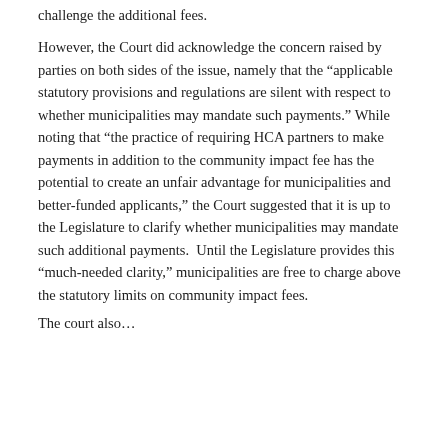challenge the additional fees.
However, the Court did acknowledge the concern raised by parties on both sides of the issue, namely that the “applicable statutory provisions and regulations are silent with respect to whether municipalities may mandate such payments.” While noting that “the practice of requiring HCA partners to make payments in addition to the community impact fee has the potential to create an unfair advantage for municipalities and better-funded applicants,” the Court suggested that it is up to the Legislature to clarify whether municipalities may mandate such additional payments. Until the Legislature provides this “much-needed clarity,” municipalities are free to charge above the statutory limits on community impact fees.
The court also…